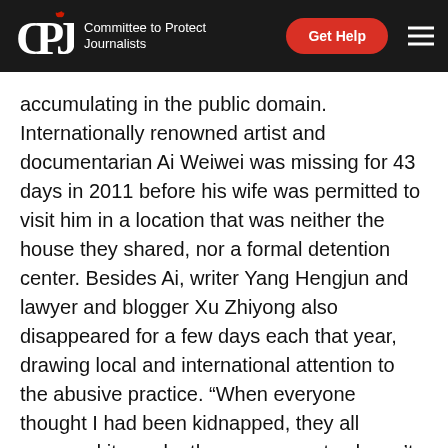CPJ | Committee to Protect Journalists
accumulating in the public domain. Internationally renowned artist and documentarian Ai Weiwei was missing for 43 days in 2011 before his wife was permitted to visit him in a location that was neither the house they shared, nor a formal detention center. Besides Ai, writer Yang Hengjun and lawyer and blogger Xu Zhiyong also disappeared for a few days each that year, drawing local and international attention to the abusive practice. “When everyone thought I had been kidnapped, they all assumed it was by the government—doesn’t that tell you something?” Yang commented on his reappearance.